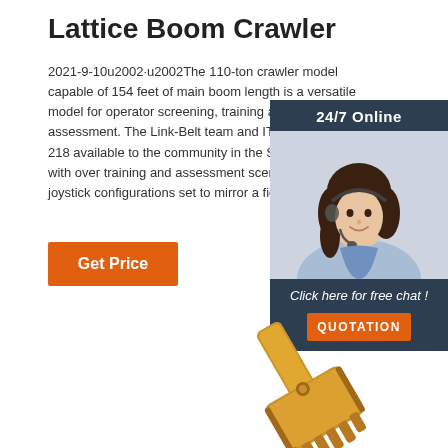Lattice Boom Crawler
2021-9-10u2002·u2002The 110-ton crawler model capable of 154 feet of main boom length is a versatile model for operator screening, training and assessment. The Link-Belt team and ITI VR made the 218 available to the community in the Spring of 2017 with over training and assessment scenarios and joystick configurations set to mirror a field crane.
[Figure (other): Orange 'Get Price' button]
[Figure (other): 24/7 online chat widget with woman in headset, 'Click here for free chat!' text, and orange QUOTATION button]
[Figure (illustration): Yellow/gold excavator bucket illustration at bottom of page]